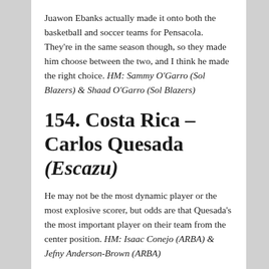Juawon Ebanks actually made it onto both the basketball and soccer teams for Pensacola. They're in the same season though, so they made him choose between the two, and I think he made the right choice. HM: Sammy O'Garro (Sol Blazers) & Shaad O'Garro (Sol Blazers)
154. Costa Rica – Carlos Quesada (Escazu)
He may not be the most dynamic player or the most explosive scorer, but odds are that Quesada's the most important player on their team from the center position. HM: Isaac Conejo (ARBA) & Jefny Anderson-Brown (ARBA)
155. Bahrain – Mohamed Kawaid (Al-Riffa)